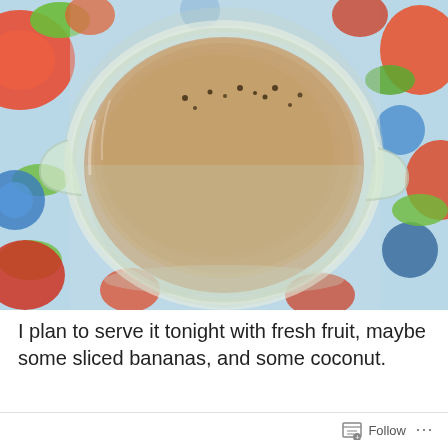[Figure (photo): A glass measuring cup or bowl filled with a beige/cream colored mixture (appears to be oatmeal or a grain mixture) sitting on a colorful floral patterned tablecloth with red, blue, orange, and green flowers.]
I plan to serve it tonight with fresh fruit, maybe some sliced bananas, and some coconut.
[Figure (photo): Partial view of another photo below, showing what appears to be the same colorful floral tablecloth.]